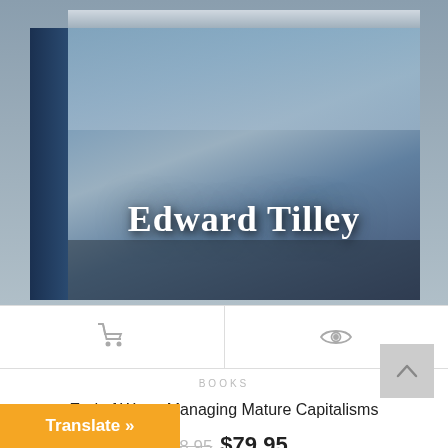[Figure (photo): Book product image showing author name 'Edward Tilley' on cover with a steampunk/city background. Book is displayed in a 3D box perspective.]
[Figure (screenshot): Two action button icons: a shopping cart icon on the left and an eye/preview icon on the right, separated by a vertical divider.]
BOOKS
End of War – Managing Mature Capitalisms
$98.95 $79.95
[Figure (photo): Partial view of another book product image with dark brown/maroon cover design and a gold medallion badge reading 'Scientific Societies'. Navigation arrows visible.]
Translate »